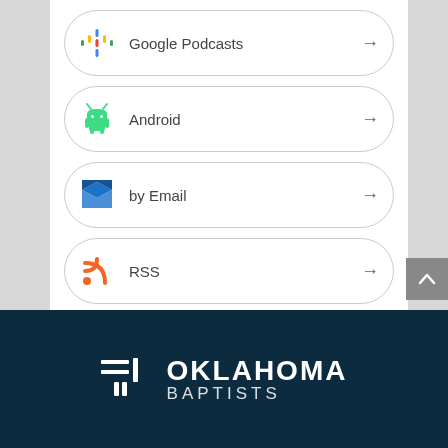Google Podcasts
Android
by Email
RSS
More Subscribe Options
[Figure (logo): Oklahoma Baptists logo with white icon of lines and a vertical bar on a dark navy background, with text OKLAHOMA BAPTISTS]